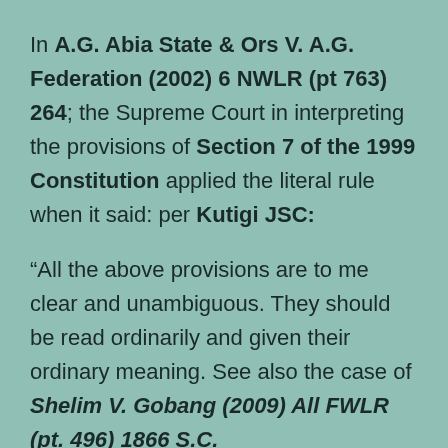In A.G. Abia State & Ors V. A.G. Federation (2002) 6 NWLR (pt 763) 264; the Supreme Court in interpreting the provisions of Section 7 of the 1999 Constitution applied the literal rule when it said: per Kutigi JSC:
“All the above provisions are to me clear and unambiguous. They should be read ordinarily and given their ordinary meaning. See also the case of Shelim V. Gobang (2009) All FWLR (pt. 496) 1866 S.C.
The literal rule of statutory interpretation has been applied in several other cases in Nigeria. See the case of Akanmode V. Dino (2009) All